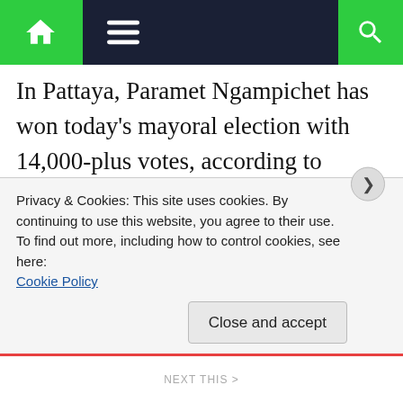Navigation bar with home, menu, and search icons
In Pattaya, Paramet Ngampichet has won today's mayoral election with 14,000-plus votes, according to unofficial reports.
Paramet has contested neck-and-neck for Pattaya mayor against Sinchai Watanasartsathorn who has reportedly secured some 12,000-plus votes, followed by some 8,800
Privacy & Cookies: This site uses cookies. By continuing to use this website, you agree to their use.
To find out more, including how to control cookies, see here:
Cookie Policy
Close and accept